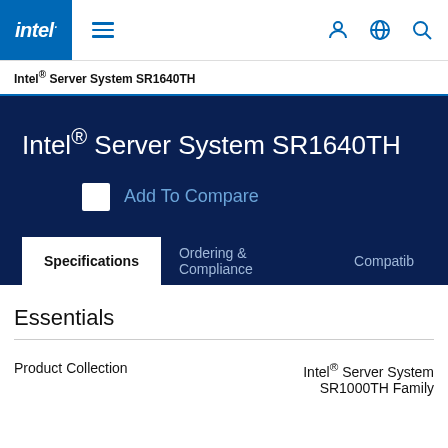Intel® Server System SR1640TH
Intel® Server System SR1640TH
Add To Compare
Specifications | Ordering & Compliance | Compatib
Essentials
|  |  |
| --- | --- |
| Product Collection | Intel® Server System SR1000TH Family |